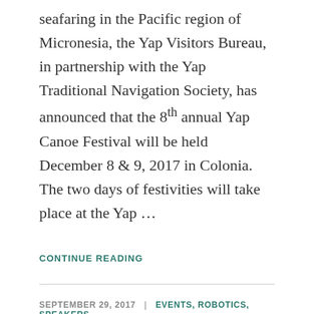seafaring in the Pacific region of Micronesia, the Yap Visitors Bureau, in partnership with the Yap Traditional Navigation Society, has announced that the 8th annual Yap Canoe Festival will be held December 8 & 9, 2017 in Colonia. The two days of festivities will take place at the Yap …
CONTINUE READING
SEPTEMBER 29, 2017 | EVENTS, ROBOTICS, SPEAKERS
Parents, Educators, & Leaders talk Robots in Yap